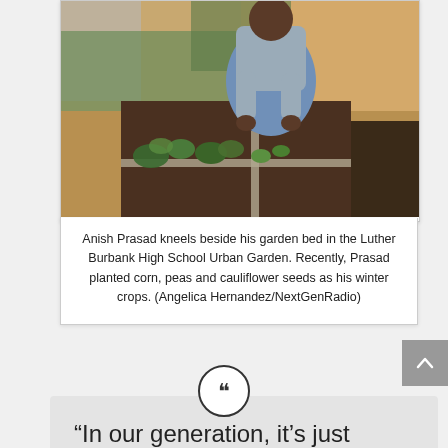[Figure (photo): Anish Prasad kneeling beside a garden bed in Luther Burbank High School Urban Garden, tending to plants in a raised wooden bed with dark soil. Outdoor setting with dry grass and a wall in background.]
Anish Prasad kneels beside his garden bed in the Luther Burbank High School Urban Garden. Recently, Prasad planted corn, peas and cauliflower seeds as his winter crops. (Angelica Hernandez/NextGenRadio)
“In our generation, it’s just farming. I love farming.”